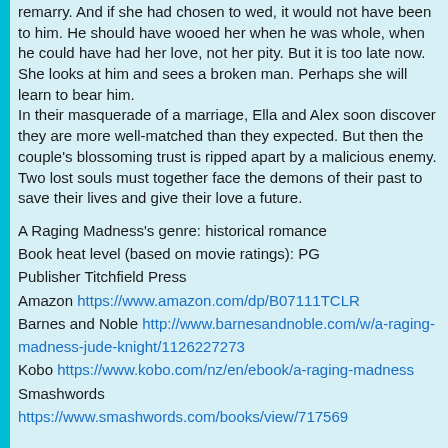remarry. And if she had chosen to wed, it would not have been to him. He should have wooed her when he was whole, when he could have had her love, not her pity. But it is too late now. She looks at him and sees a broken man. Perhaps she will learn to bear him.
In their masquerade of a marriage, Ella and Alex soon discover they are more well-matched than they expected. But then the couple's blossoming trust is ripped apart by a malicious enemy. Two lost souls must together face the demons of their past to save their lives and give their love a future.
A Raging Madness's genre: historical romance
Book heat level (based on movie ratings): PG
Publisher Titchfield Press
Amazon https://www.amazon.com/dp/B07111TCLR
Barnes and Noble http://www.barnesandnoble.com/w/a-raging-madness-jude-knight/1126227273
Kobo https://www.kobo.com/nz/en/ebook/a-raging-madness
Smashwords https://www.smashwords.com/books/view/717569